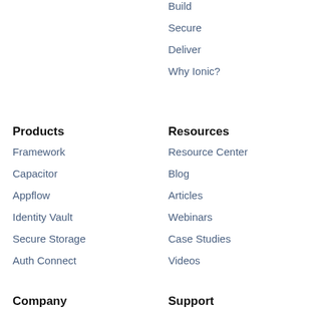Build
Secure
Deliver
Why Ionic?
Products
Framework
Capacitor
Appflow
Identity Vault
Secure Storage
Auth Connect
Resources
Resource Center
Blog
Articles
Webinars
Case Studies
Videos
Company
Support